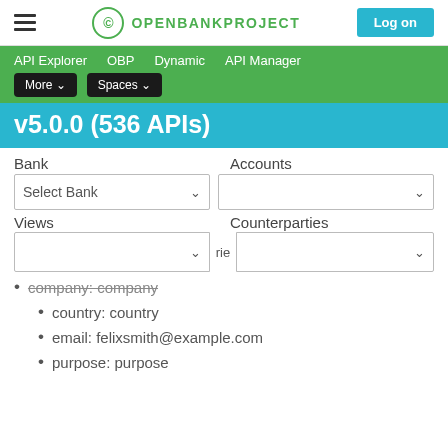OPENBANKPROJECT — Log on
API Explorer  OBP  Dynamic  API Manager  More ▾  Spaces ▾
v5.0.0 (536 APIs)
Bank    Accounts
Select Bank (dropdown)   [empty dropdown]
Views    Counterparties
[Views dropdown]   [Counterparties dropdown]   rie
company: company (strikethrough)
country: country
email: felixsmith@example.com
purpose: purpose